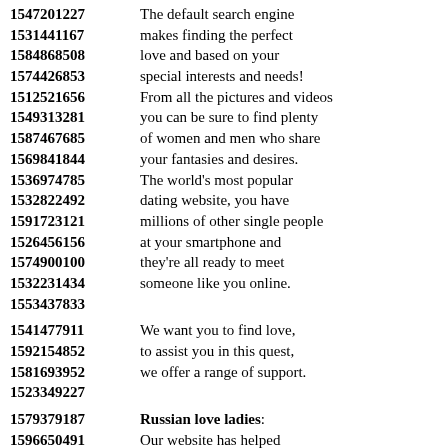1547201227  The default search engine
1531441167  makes finding the perfect
1584868508  love and based on your
1574426853  special interests and needs!
1512521656  From all the pictures and videos
1549313281  you can be sure to find plenty
1587467685  of women and men who share
1569841844  your fantasies and desires.
1536974785  The world's most popular
1532822492  dating website, you have
1591723121  millions of other single people
1526456156  at your smartphone and
1574900100  they're all ready to meet
1532231434  someone like you online.
1553437833
1541477911  We want you to find love,
1592154852  to assist you in this quest,
1581693952  we offer a range of support.
1523349227
1579379187  Russian love ladies:
1596650491  Our website has helped
1521889933  thousands of singles find their
1574282457  prospective long-term partner.
1527292286  Your complete guide to
1545259786  dating all in one place.